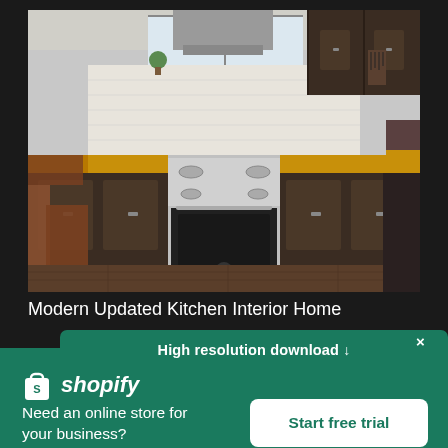[Figure (photo): Modern kitchen interior with dark wood cabinets, stainless steel range/oven in center, butcher block countertops, range hood above, dining chairs visible on left, dark hardwood floors]
Modern Updated Kitchen Interior Home
High resolution download ↓
[Figure (logo): Shopify logo: white shopping bag icon with 'S' and white italic bold text 'shopify']
Need an online store for your business?
Start free trial